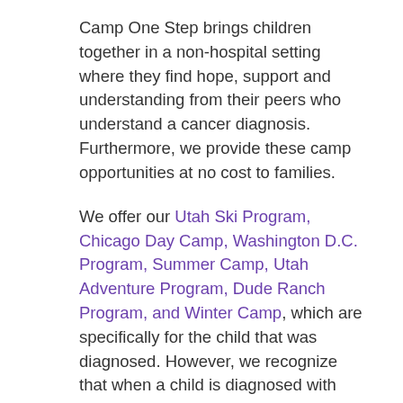Camp One Step brings children together in a non-hospital setting where they find hope, support and understanding from their peers who understand a cancer diagnosis. Furthermore, we provide these camp opportunities at no cost to families.
We offer our Utah Ski Program, Chicago Day Camp, Washington D.C. Program, Summer Camp, Utah Adventure Program, Dude Ranch Program, and Winter Camp, which are specifically for the child that was diagnosed. However, we recognize that when a child is diagnosed with Cancer, that it impacts the entire family, not just that child.
In addition, we offer three “family programs”. Our Family Camp, is for a family that has a child diagnosed with cancer, our Brain Tumor Family